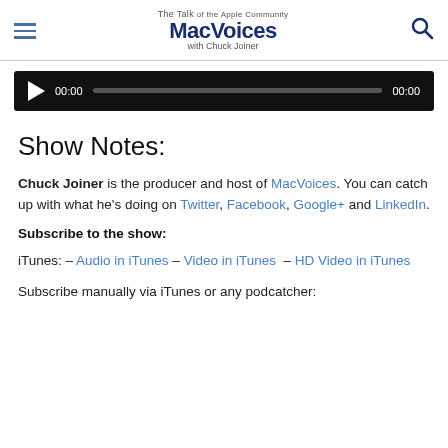The Talk of the Apple Community MacVoices with Chuck Joiner
[Figure (screenshot): Audio player bar with play button, 00:00 start time, progress bar, and 00:00 end time on black background]
Show Notes:
Chuck Joiner is the producer and host of MacVoices. You can catch up with what he's doing on Twitter, Facebook, Google+ and LinkedIn.
Subscribe to the show:
iTunes: – Audio in iTunes – Video in iTunes – HD Video in iTunes
Subscribe manually via iTunes or any podcatcher: